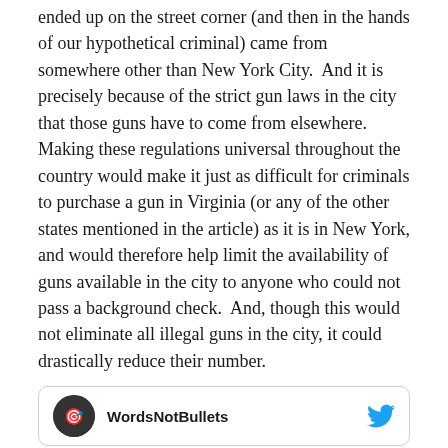ended up on the street corner (and then in the hands of our hypothetical criminal) came from somewhere other than New York City.  And it is precisely because of the strict gun laws in the city that those guns have to come from elsewhere.  Making these regulations universal throughout the country would make it just as difficult for criminals to purchase a gun in Virginia (or any of the other states mentioned in the article) as it is in New York, and would therefore help limit the availability of guns available in the city to anyone who could not pass a background check.  And, though this would not eliminate all illegal guns in the city, it could drastically reduce their number.
Of course, all of that wouldn't fit into a single tweet.  So, I shortened my argument a bit:
[Figure (screenshot): Partial Twitter/social media card showing WordsNotBullets account avatar and name with Twitter bird icon]